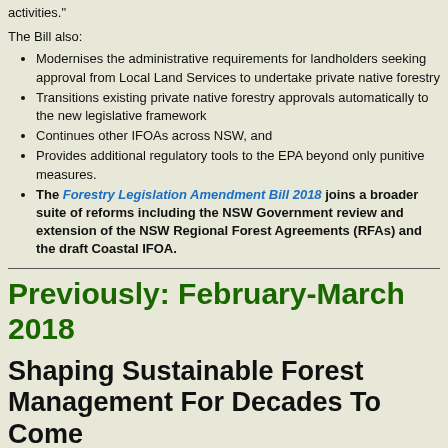activities."
The Bill also:
Modernises the administrative requirements for landholders seeking approval from Local Land Services to undertake private native forestry
Transitions existing private native forestry approvals automatically to the new legislative framework
Continues other IFOAs across NSW, and
Provides additional regulatory tools to the EPA beyond only punitive measures.
The Forestry Legislation Amendment Bill 2018 joins a broader suite of reforms including the NSW Government review and extension of the NSW Regional Forest Agreements (RFAs) and the draft Coastal IFOA.
Previously: February-March 2018
Shaping Sustainable Forest Management For Decades To Come